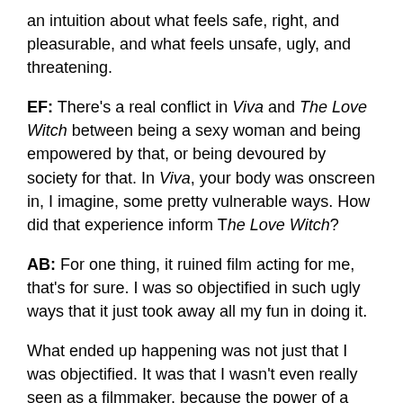an intuition about what feels safe, right, and pleasurable, and what feels unsafe, ugly, and threatening.
EF: There's a real conflict in Viva and The Love Witch between being a sexy woman and being empowered by that, or being devoured by society for that. In Viva, your body was onscreen in, I imagine, some pretty vulnerable ways. How did that experience inform T*he Love Witch*?
AB: For one thing, it ruined film acting for me, that's for sure. I was so objectified in such ugly ways that it just took away all my fun in doing it.
What ended up happening was not just that I was objectified. It was that I wasn't even really seen as a filmmaker, because the power of a woman doing a sexual performance onscreen is so strong for men that they're unable to look at her as a creator of anything. I've only been this way sometimes, I think.